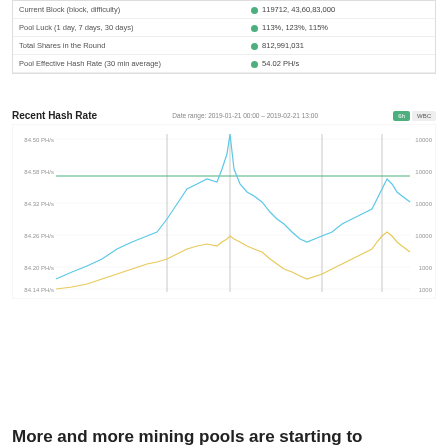| Label | Value |
| --- | --- |
| Current Block (block, difficulty) | 119712, 43,60,83,000 |
| Pool Luck (1 day, 7 days, 30 days) | 113%, 123%, 115% |
| Total Shares in the Round | 812,991,031 |
| Pool Effective Hash Rate (30 min average) | 54.02 PH/s |
[Figure (line-chart): A dual-line chart showing recent hash rate over time. Blue line shows real-time hash rate, yellow line shows average. Y-axis left shows PH/s values from ~84.30 to ~84.50 PH/s. Y-axis right shows values around 10000. Date range: 2019-01-21 00:00 – 2019-02-21 13:00. A tall spike is visible roughly in the center of the chart.]
More and more mining pools are starting to